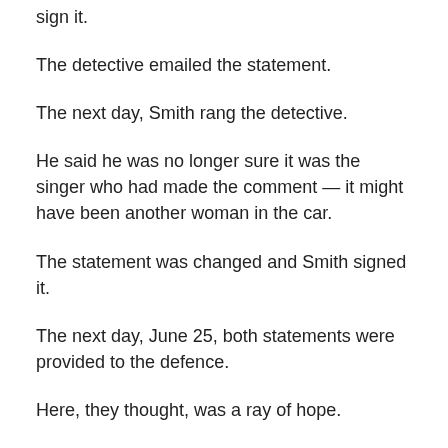Smith said he was happy with the statement and would sign it.
The detective emailed the statement.
The next day, Smith rang the detective.
He said he was no longer sure it was the singer who had made the comment — it might have been another woman in the car.
The statement was changed and Smith signed it.
The next day, June 25, both statements were provided to the defence.
Here, they thought, was a ray of hope.
Smith's initial statement gave credibility to the singer's story that she was only playing a part when she was